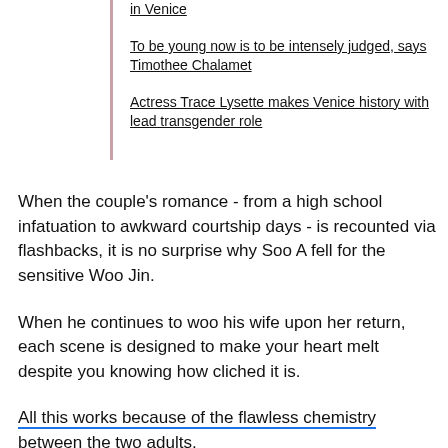in Venice
To be young now is to be intensely judged, says Timothee Chalamet
Actress Trace Lysette makes Venice history with lead transgender role
When the couple's romance - from a high school infatuation to awkward courtship days - is recounted via flashbacks, it is no surprise why Soo A fell for the sensitive Woo Jin.
When he continues to woo his wife upon her return, each scene is designed to make your heart melt despite you knowing how cliched it is.
All this works because of the flawless chemistry between the two adults.